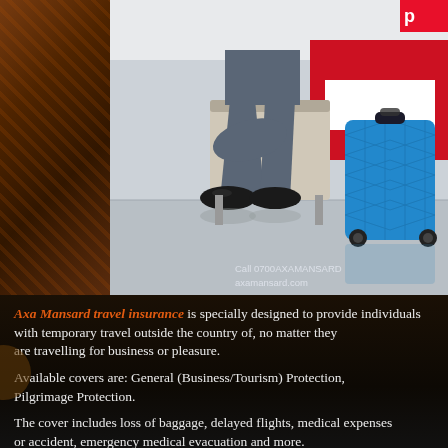[Figure (photo): Man in suit seated at airport with blue suitcase beside him. AXA Mansard branding visible. Contact info: Call 0700AXAMANSARD, axamansard.com]
Axa Mansard travel insurance is specially designed to provide individuals with temporary travel outside the country of, no matter they are travelling for business or pleasure.
Available covers are: General (Business/Tourism) Protection, Pilgrimage Protection.
The cover includes loss of baggage, delayed flights, medical expenses or accident, emergency medical evacuation and more.